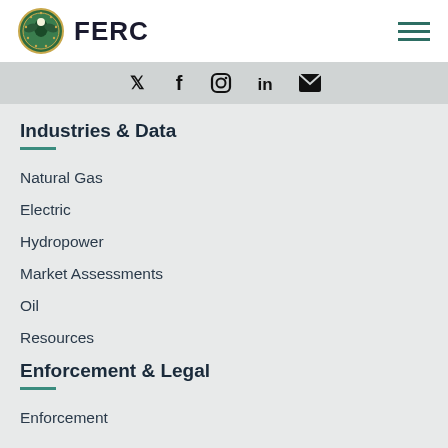FERC
[Figure (other): Social media icons: Twitter, Facebook, Instagram, LinkedIn, Email]
Industries & Data
Natural Gas
Electric
Hydropower
Market Assessments
Oil
Resources
Enforcement & Legal
Enforcement